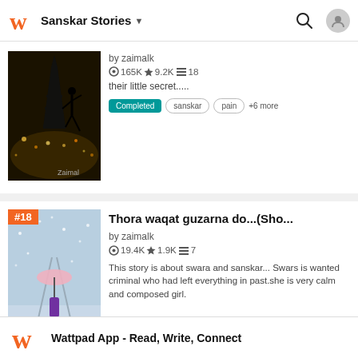Sanskar Stories
by zaimalk
165K★9.2K≡18
their little secret.....
Completed  sanskar  pain  +6 more
Thora waqat guzarna do...(Sho...
by zaimalk
19.4K★1.9K≡7
This story is about swara and sanskar... Swars is wanted criminal who had left everything in past.she is very calm and composed girl.
Wattpad App - Read, Write, Connect